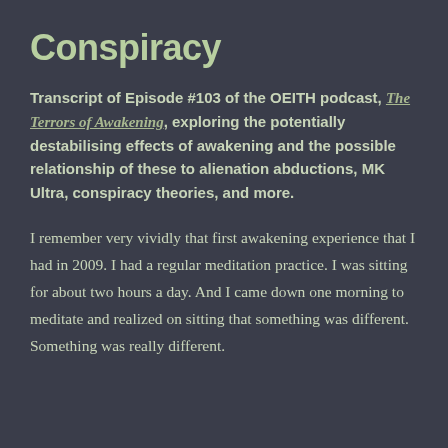Conspiracy
Transcript of Episode #103 of the OEITH podcast, The Terrors of Awakening, exploring the potentially destabilising effects of awakening and the possible relationship of these to alienation abductions, MK Ultra, conspiracy theories, and more.
I remember very vividly that first awakening experience that I had in 2009. I had a regular meditation practice. I was sitting for about two hours a day. And I came down one morning to meditate and realized on sitting that something was different. Something was really different.